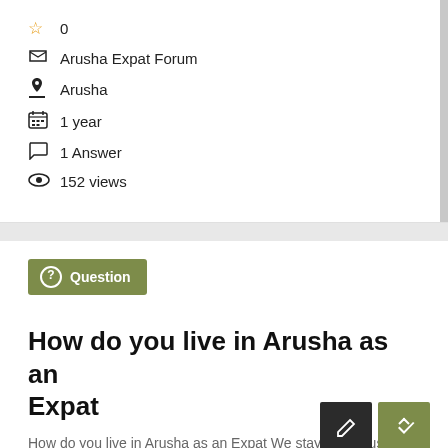☆ 0
Arusha Expat Forum
Arusha
1 year
1 Answer
152 views
Question
How do you live in Arusha as an Expat
How do you live in Arusha as an Expat We stayed in Arusha